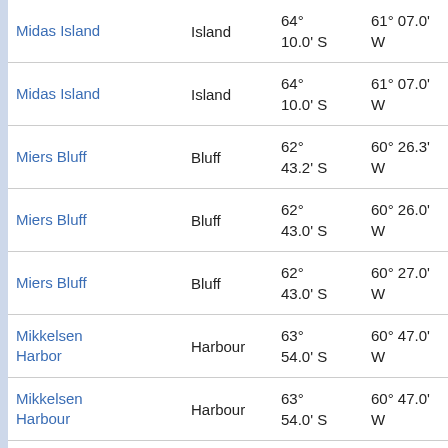| Name | Type | Latitude | Longitude | ... |
| --- | --- | --- | --- | --- |
| Midas Island | Island | 64° 10.0' S | 61° 07.0' W | 58. at 2 |
| Midas Island | Island | 64° 10.0' S | 61° 07.0' W | 58. at 2 |
| Miers Bluff | Bluff | 62° 43.2' S | 60° 26.3' W | 109 at 3 |
| Miers Bluff | Bluff | 62° 43.0' S | 60° 26.0' W | 109 at 3 |
| Miers Bluff | Bluff | 62° 43.0' S | 60° 27.0' W | 109 at 3 |
| Mikkelsen Harbor | Harbour | 63° 54.0' S | 60° 47.0' W | 25. at 2 |
| Mikkelsen Harbour | Harbour | 63° 54.0' S | 60° 47.0' W | 25. at 2 |
| Mikkelsen, Puerto | Harbour | 63° 54.0' S | 60° 47.0' W | 25. at 2 |